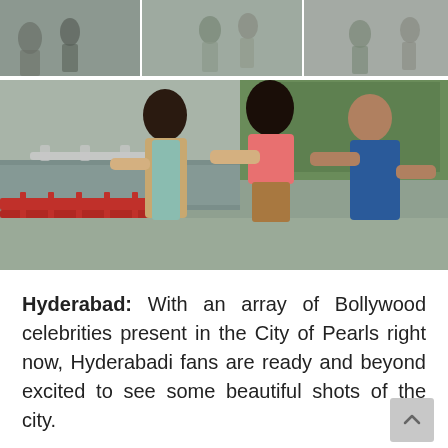[Figure (photo): Two photos: a top strip showing several people standing outdoors, and a main photo showing three young people (two women and one man) walking together with arms around each other near a bridge and water, with trees in the background.]
Hyderabad: With an array of Bollywood celebrities present in the City of Pearls right now, Hyderabadi fans are ready and beyond excited to see some beautiful shots of the city.
While we wait to witness these B-Town stars create magic with their immaculate acting